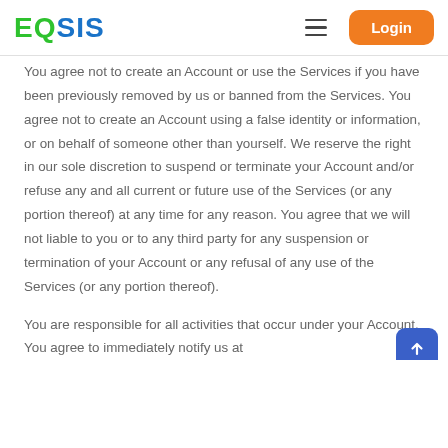EQSIS — Login
You agree not to create an Account or use the Services if you have been previously removed by us or banned from the Services. You agree not to create an Account using a false identity or information, or on behalf of someone other than yourself. We reserve the right in our sole discretion to suspend or terminate your Account and/or refuse any and all current or future use of the Services (or any portion thereof) at any time for any reason. You agree that we will not liable to you or to any third party for any suspension or termination of your Account or any refusal of any use of the Services (or any portion thereof).
You are responsible for all activities that occur under your Account. You agree to immediately notify us at